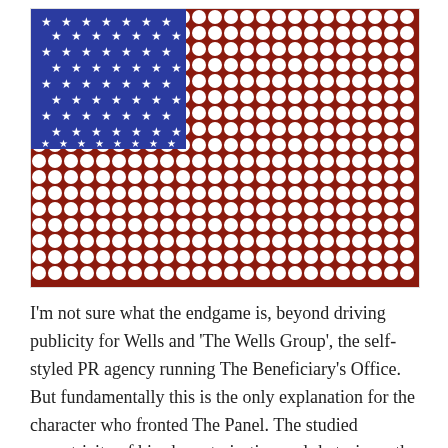[Figure (illustration): Stylized American flag illustration. The canton (upper left) is blue with white stars arranged in rows. The rest of the flag is dark red/maroon with a dense pattern of white dots (representing stripes rendered as polka dots). The background behind the flag has a faint lighter dot pattern.]
I'm not sure what the endgame is, beyond driving publicity for Wells and 'The Wells Group', the self-styled PR agency running The Beneficiary's Office. But fundamentally this is the only explanation for the character who fronted The Panel. The studied eccentricity of his characterisation and rhetoric — the Leninesque styling and cheap, ill-fitting suit; the suggestion